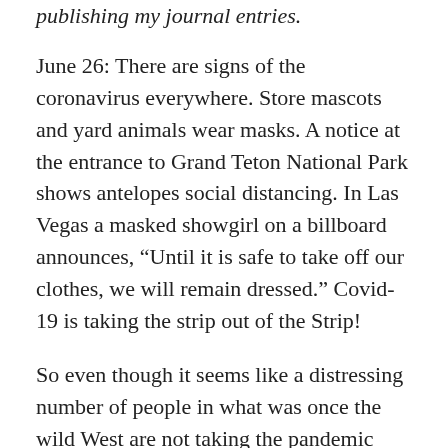publishing my journal entries.
June 26: There are signs of the coronavirus everywhere. Store mascots and yard animals wear masks. A notice at the entrance to Grand Teton National Park shows antelopes social distancing. In Las Vegas a masked showgirl on a billboard announces, “Until it is safe to take off our clothes, we will remain dressed.” Covid-19 is taking the strip out of the Strip!
So even though it seems like a distressing number of people in what was once the wild West are not taking the pandemic seriously, this is not the same country I’ve driven across for decades. Still, I wish people in Wyoming were wearing masks more than they were in Utah. The state with a rodeo-rider mascot seems to be taking the threat of aquatic parasites more seriously than that of human viruses: we got stopped three times in one day to